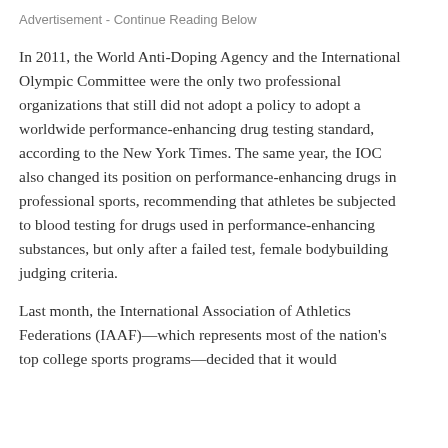Advertisement - Continue Reading Below
In 2011, the World Anti-Doping Agency and the International Olympic Committee were the only two professional organizations that still did not adopt a policy to adopt a worldwide performance-enhancing drug testing standard, according to the New York Times. The same year, the IOC also changed its position on performance-enhancing drugs in professional sports, recommending that athletes be subjected to blood testing for drugs used in performance-enhancing substances, but only after a failed test, female bodybuilding judging criteria.
Last month, the International Association of Athletics Federations (IAAF)—which represents most of the nation's top college sports programs—decided that it would